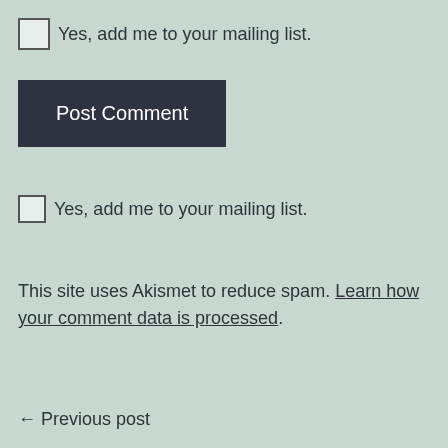Yes, add me to your mailing list.
Post Comment
Yes, add me to your mailing list.
This site uses Akismet to reduce spam. Learn how your comment data is processed.
← Previous post